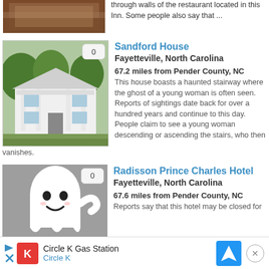[Figure (photo): Partial view of a brick building restaurant/inn at top of page]
through walls of the restaurant located in this Inn. Some people also say that ...
[Figure (photo): White two-story antebellum house with columns - Sandford House]
Sandford House
Fayetteville, North Carolina
67.2 miles from Pender County, NC
This house boasts a haunted stairway where the ghost of a young woman is often seen. Reports of sightings date back for over a hundred years and continue to this day. People claim to see a young woman descending or ascending the stairs, who then vanishes.
[Figure (illustration): Cartoon ghost illustration on gray background]
Radisson Prince Charles Hotel
Fayetteville, North Carolina
67.6 miles from Pender County, NC
Reports say that this hotel may be closed for
Circle K Gas Station Circle K (advertisement)